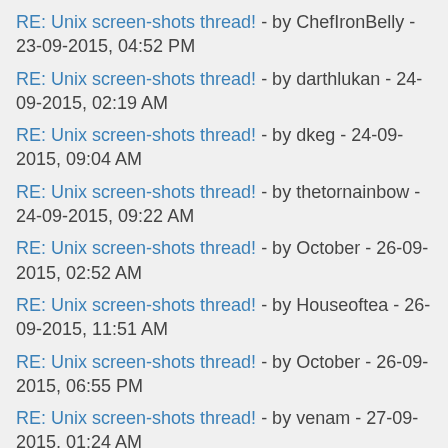RE: Unix screen-shots thread! - by ChefIronBelly - 23-09-2015, 04:52 PM
RE: Unix screen-shots thread! - by darthlukan - 24-09-2015, 02:19 AM
RE: Unix screen-shots thread! - by dkeg - 24-09-2015, 09:04 AM
RE: Unix screen-shots thread! - by thetornainbow - 24-09-2015, 09:22 AM
RE: Unix screen-shots thread! - by October - 26-09-2015, 02:52 AM
RE: Unix screen-shots thread! - by Houseoftea - 26-09-2015, 11:51 AM
RE: Unix screen-shots thread! - by October - 26-09-2015, 06:55 PM
RE: Unix screen-shots thread! - by venam - 27-09-2015, 01:24 AM
RE: Unix screen-shots thread! - by October - 27-09-2015, 06:41 PM
RE: Unix screen-shots thread! - by kirby - 02-10-2015, 05:29 AM
RE: Unix screen-shots thread! - by venam - 02-10-2015, 06:01